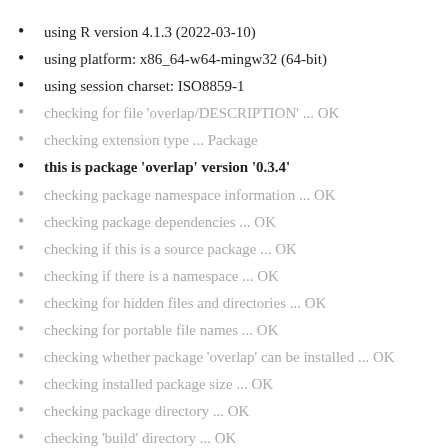using R version 4.1.3 (2022-03-10)
using platform: x86_64-w64-mingw32 (64-bit)
using session charset: ISO8859-1
checking for file 'overlap/DESCRIPTION' ... OK
checking extension type ... Package
this is package 'overlap' version '0.3.4'
checking package namespace information ... OK
checking package dependencies ... OK
checking if this is a source package ... OK
checking if there is a namespace ... OK
checking for hidden files and directories ... OK
checking for portable file names ... OK
checking whether package 'overlap' can be installed ... OK
checking installed package size ... OK
checking package directory ... OK
checking 'build' directory ... OK
checking DESCRIPTION meta-information ... OK
checking top-level files ... OK
checking for left-over files ... OK
checking index information ... OK
checking package subdirectories ... OK
checking R files for non-ASCII characters ... OK
checking R files for syntax errors ... OK
loading checks for arch 'i386'